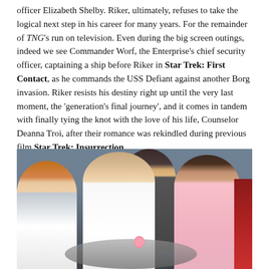officer Elizabeth Shelby. Riker, ultimately, refuses to take the logical next step in his career for many years. For the remainder of TNG's run on television. Even during the big screen outings, indeed we see Commander Worf, the Enterprise's chief security officer, captaining a ship before Riker in Star Trek: First Contact, as he commands the USS Defiant against another Borg invasion. Riker resists his destiny right up until the very last moment, the 'generation's final journey', and it comes in tandem with finally tying the knot with the love of his life, Counselor Deanna Troi, after their romance was rekindled during previous film Star Trek: Insurrection.
[Figure (photo): A scene from a Star Trek film or series showing multiple characters at what appears to be a celebration or wedding scene. A woman with auburn hair is on the left, a bald man in white in the center, a taller figure standing behind, a woman in a pink dress on the right, and a partial figure in red on the far right. There is a table with a flower arrangement in the foreground.]